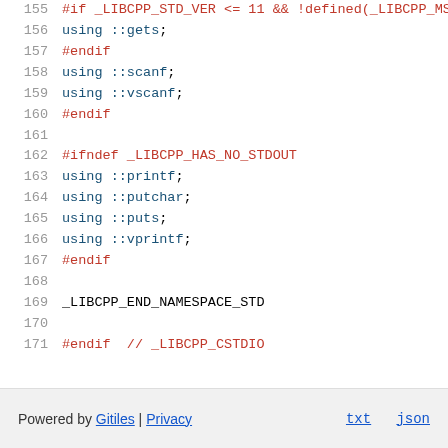155  #if _LIBCPP_STD_VER <= 11 && !defined(_LIBCPP_MS...
156  using ::gets;
157  #endif
158  using ::scanf;
159  using ::vscanf;
160  #endif
161  (blank)
162  #ifndef _LIBCPP_HAS_NO_STDOUT
163  using ::printf;
164  using ::putchar;
165  using ::puts;
166  using ::vprintf;
167  #endif
168  (blank)
169  _LIBCPP_END_NAMESPACE_STD
170  (blank)
171  #endif  // _LIBCPP_CSTDIO
Powered by Gitiles | Privacy    txt  json